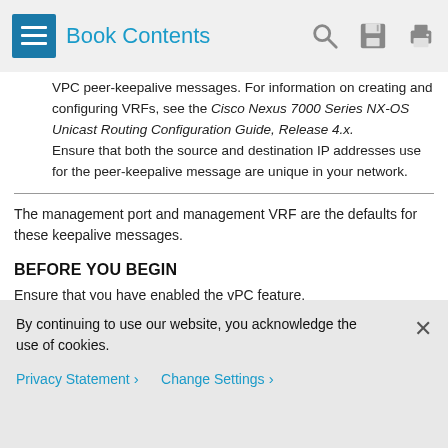Book Contents
VRFs peer-keepalive messages. For information on creating and configuring VRFs, see the Cisco Nexus 7000 Series NX-OS Unicast Routing Configuration Guide, Release 4.x. Ensure that both the source and destination IP addresses use for the peer-keepalive message are unique in your network.
The management port and management VRF are the defaults for these keepalive messages.
BEFORE YOU BEGIN
Ensure that you have enabled the vPC feature.
Ensure that you are in the correct VDC (or use the switchto vdc
By continuing to use our website, you acknowledge the use of cookies.
Privacy Statement > Change Settings >